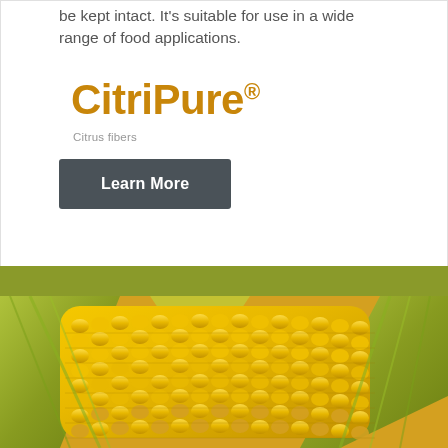be kept intact. It's suitable for use in a wide range of food applications.
CitriPure®
Citrus fibers
Learn More
[Figure (photo): Close-up photograph of fresh corn on the cob with green husks, showing yellow corn kernels in detail]